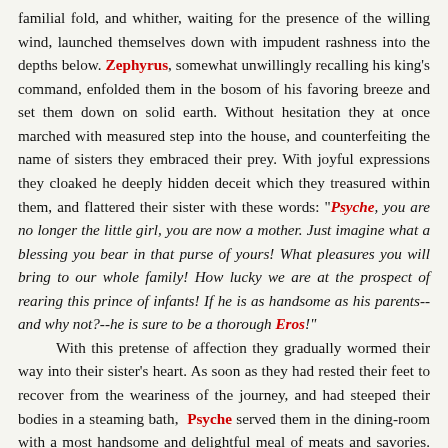familial fold, and whither, waiting for the presence of the willing wind, launched themselves down with impudent rashness into the depths below. Zephyrus, somewhat unwillingly recalling his king's command, enfolded them in the bosom of his favoring breeze and set them down on solid earth. Without hesitation they at once marched with measured step into the house, and counterfeiting the name of sisters they embraced their prey. With joyful expressions they cloaked he deeply hidden deceit which they treasured within them, and flattered their sister with these words: "Psyche, you are no longer the little girl, you are now a mother. Just imagine what a blessing you bear in that purse of yours! What pleasures you will bring to our whole family! How lucky we are at the prospect of rearing this prince of infants! If he is as handsome as his parents--and why not?--he is sure to be a thorough Eros!" With this pretense of affection they gradually wormed their way into their sister's heart. As soon as they had rested their feet to recover from the weariness of the journey, and had steeped their bodies in a steaming bath, Psyche served them in the dining-room with a most handsome and delightful meal of meats and savories. She ordered a lyre to play, and string-music came forth. she ordered pipes to start up, and their notes were heard. She bade choirs to sing, and they duly did. All this music soothed their